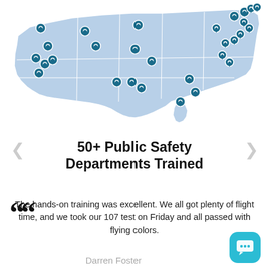[Figure (map): Map of the United States with teal/blue location pin markers indicating over 50 public safety department locations across the country, concentrated on the east coast and west coast.]
50+ Public Safety Departments Trained
The hands-on training was excellent. We all got plenty of flight time, and we took our 107 test on Friday and all passed with flying colors.
Darren Foster